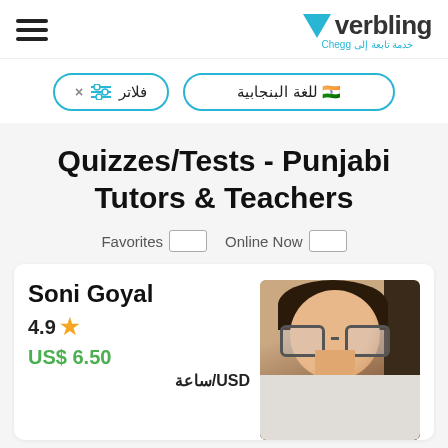verbling — خدمة تابعة إلى Chegg
× فلاتر | للغة البنجابية
Quizzes/Tests - Punjabi Tutors & Teachers
Favorites   Online Now
Soni Goyal
4.9 ★
US$ 6.50
USD/ساعة